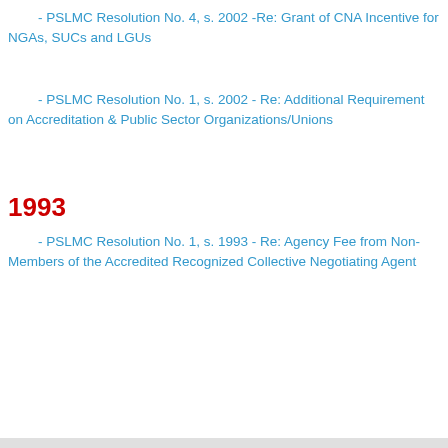- PSLMC Resolution No. 4, s. 2002 -Re: Grant of CNA Incentive for NGAs, SUCs and LGUs
- PSLMC Resolution No. 1, s. 2002 - Re: Additional Requirement on Accreditation & Public Sector Organizations/Unions
1993
- PSLMC Resolution No. 1, s. 1993 - Re: Agency Fee from Non-Members of the Accredited Recognized Collective Negotiating Agent
[Figure (photo): A black navigation bar followed by a grey area with a partial outdoor photo showing trees and sky at the bottom of the page.]